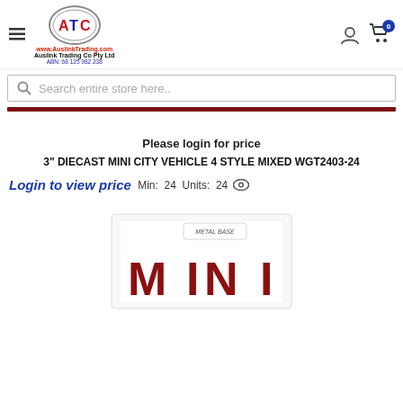www.AuslinkTrading.com Auslink Trading Co Pty Ltd ABN: 68 125 982 238
Search entire store here..
Please login for price
3" DIECAST MINI CITY VEHICLE 4 STYLE MIXED WGT2403-24
Login to view price  Min:  24 Units:  24
[Figure (photo): Partial photo of a diecast mini city vehicle product box showing 'MINI' text in dark red letters and 'METAL BASE' label at the top.]